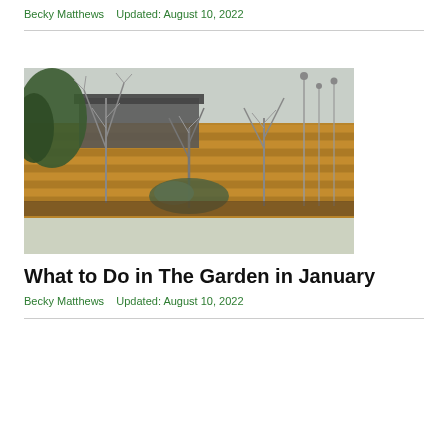Becky Matthews   Updated: August 10, 2022
[Figure (photo): A frost-covered garden in winter showing bare branchy shrubs against a horizontal wooden fence, with a flat green lawn in the foreground and overcast sky.]
What to Do in The Garden in January
Becky Matthews   Updated: August 10, 2022